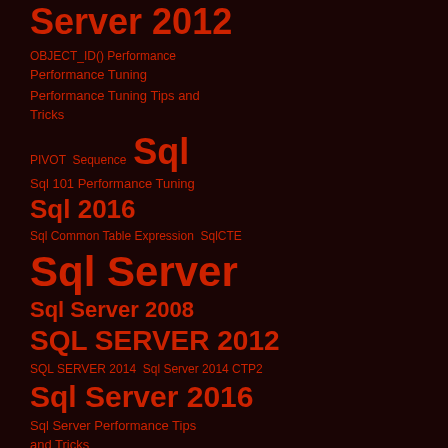Server 2012
OBJECT_ID() Performance
Performance Tuning
Performance Tuning Tips and Tricks
PIVOT
Sequence
Sql
Sql 101 Performance Tuning
Sql 2016
Sql Common Table Expression
SqlCTE
Sql Server
Sql Server 2008
SQL SERVER 2012
SQL SERVER 2014
Sql Server 2014 CTP2
Sql Server 2016
Sql Server Performance Tips and Tricks
Sql Server Performance Tuning Tip